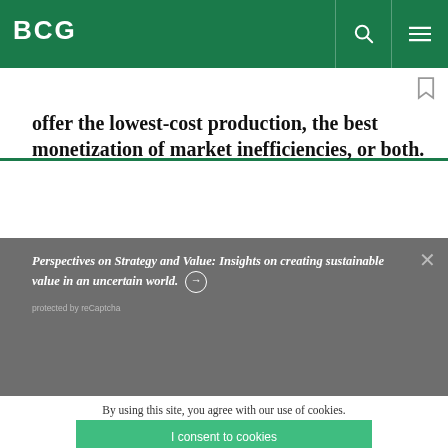BCG
offer the lowest-cost production, the best monetization of market inefficiencies, or both.
Perspectives on Strategy and Value: Insights on creating sustainable value in an uncertain world. →
protected by reCaptcha
By using this site, you agree with our use of cookies.
I consent to cookies
Want to know more?
Read our Cookie Policy